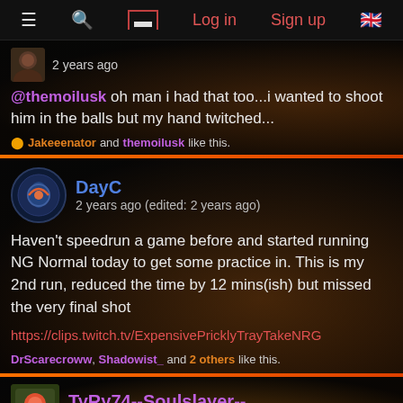≡  🔍  [icon]  Log in  Sign up  🇬🇧
2 years ago
@themoilusk oh man i had that too...i wanted to shoot him in the balls but my hand twitched...
🟡 Jakeeenator and themoilusk like this.
DayC
2 years ago (edited: 2 years ago)
Haven't speedrun a game before and started running NG Normal today to get some practice in. This is my 2nd run, reduced the time by 12 mins(ish) but missed the very final shot
https://clips.twitch.tv/ExpensivePricklyTrayTakeNRG
DrScarecroww, Shadowist_ and 2 others like this.
TyRy74--Soulslayer--
2 years ago